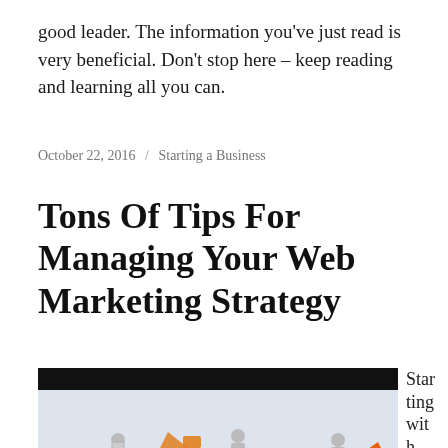good leader. The information you've just read is very beneficial. Don't stop here – keep reading and learning all you can.
October 22, 2016 / Starting a Business
Tons Of Tips For Managing Your Web Marketing Strategy
[Figure (illustration): An illustration showing small 3D figures engaging in web marketing activities, with a black bar at the top of the image]
Starting with W